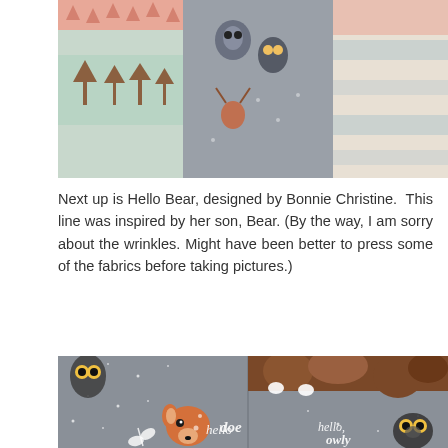[Figure (photo): Stacked fabric fat quarters showing various woodland/nature prints in peach, mint, gray, and cream colors with patterns including triangles, deer, raccoons, owls, and trees.]
Next up is Hello Bear, designed by Bonnie Christine.  This line was inspired by her son, Bear. (By the way, I am sorry about the wrinkles. Might have been better to press some of the fabrics before taking pictures.)
[Figure (photo): Close-up of Hello Bear fabric panels on gray background featuring illustrated woodland animals including a doe (hello doe) and an owl (hello owly) in orange and white, with snow dot texture.]